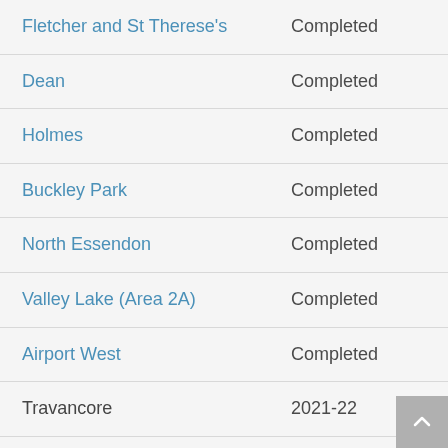| Location | Status |
| --- | --- |
| Fletcher and St Therese's | Completed |
| Dean | Completed |
| Holmes | Completed |
| Buckley Park | Completed |
| North Essendon | Completed |
| Valley Lake (Area 2A) | Completed |
| Airport West | Completed |
| Travancore | 2021-22 |
| Newmarket | 2022-23 |
| Union | 2023-24 |